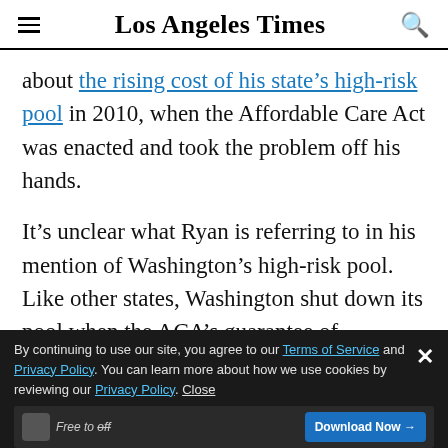Los Angeles Times
about the rising cost of his state’s high-risk pool in 2010, when the Affordable Care Act was enacted and took the problem off his hands.
It’s unclear what Ryan is referring to in his mention of Washington’s high-risk pool. Like other states, Washington shut down its pool when the ACA’s guarantee of coverage for anyone with a preexisting condition kicked in. It’s still covering a few people who were enrolled before 2014, but that will end this Dec.
By continuing to use our site, you agree to our Terms of Service and Privacy Policy. You can learn more about how we use cookies by reviewing our Privacy Policy. Close